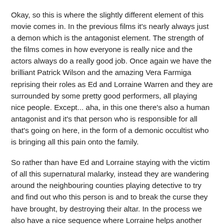Okay, so this is where the slightly different element of this movie comes in. In the previous films it's nearly always just a demon which is the antagonist element. The strength of the films comes in how everyone is really nice and the actors always do a really good job. Once again we have the brilliant Patrick Wilson and the amazing Vera Farmiga reprising their roles as Ed and Lorraine Warren and they are surrounded by some pretty good performers, all playing nice people. Except... aha, in this one there's also a human antagonist and it's that person who is responsible for all that's going on here, in the form of a demonic occultist who is bringing all this pain onto the family.
So rather than have Ed and Lorraine staying with the victim of all this supernatural malarky, instead they are wandering around the neighbouring counties playing detective to try and find out who this person is and to break the curse they have brought, by destroying their altar. In the process we also have a nice sequence where Lorraine helps another county's police force by finding a body for them... which, as it turns out, is completely connected to their own current case.